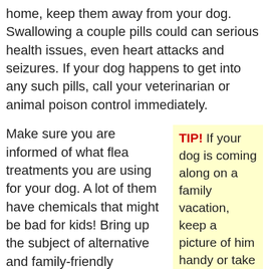home, keep them away from your dog. Swallowing a couple pills could can serious health issues, even heart attacks and seizures. If your dog happens to get into any such pills, call your veterinarian or animal poison control immediately.
Make sure you are informed of what flea treatments you are using for your dog. A lot of them have chemicals that might be bad for kids! Bring up the subject of alternative and family-friendly treatments the next time you see your vet, and always be sure to apply these treatments when no children are present.
TIP! If your dog is coming along on a family vacation, keep a picture of him handy or take one using your phone. This way, should he get lost, you have a picture you can show others.
Practice your training regimen for your puppy near your home. Training a dog in